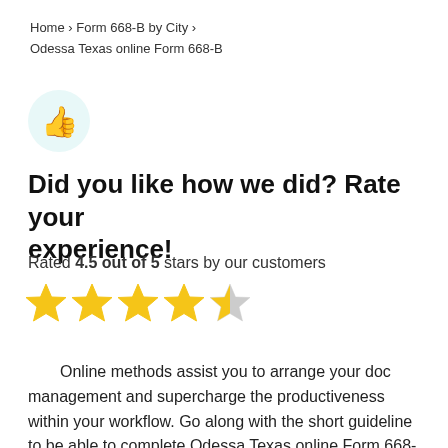Home › Form 668-B by City › Odessa Texas online Form 668-B
[Figure (illustration): Thumbs up icon inside a light teal circle]
Did you like how we did? Rate your experience!
Rated 4.5 out of 5 stars by our customers
[Figure (infographic): 4.5 out of 5 star rating shown as four full gold stars and one half gold star]
Online methods assist you to arrange your doc management and supercharge the productiveness within your workflow. Go along with the short guideline to be able to complete Odessa Texas online Form 668-B, keep away from glitches and furnish it